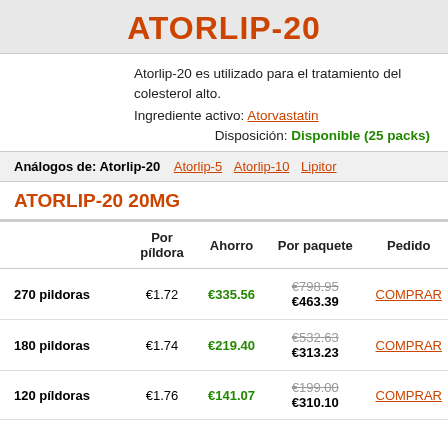ATORLIP-20
Atorlip-20 es utilizado para el tratamiento del colesterol alto.
Ingrediente activo: Atorvastatin
Disposición: Disponible (25 packs)
Análogos de: Atorlip-20   Atorlip-5   Atorlip-10   Lipitor
ATORLIP-20 20MG
|  | Por píldora | Ahorro | Por paquete | Pedido |
| --- | --- | --- | --- | --- |
| 270 pildoras | €1.72 | €335.56 | €798.95 €463.39 | COMPRAR |
| 180 pildoras | €1.74 | €219.40 | €532.63 €313.23 | COMPRAR |
| 120 pildoras | €1.76 | €141.07 | €199.00 €310.10 | COMPRAR |